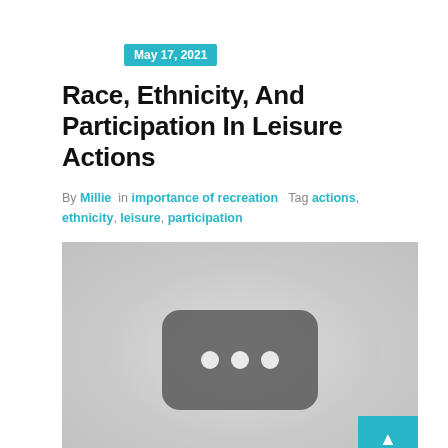May 17, 2021
Race, Ethnicity, And Participation In Leisure Actions
By Millie in importance of recreation Tag actions, ethnicity, leisure, participation
[Figure (photo): Blurred grayscale image showing a YouTube-style video player placeholder with a dark rounded rectangle and three dots in the center, on a light gray background. A teal scroll-to-top button is visible in the bottom right corner.]